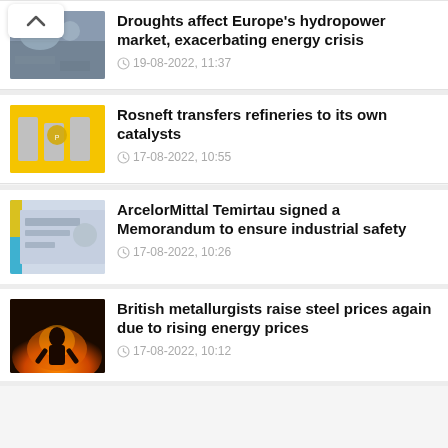[Figure (screenshot): Scroll up button with chevron arrow]
Droughts affect Europe's hydropower market, exacerbating energy crisis
19-08-2022, 11:37
Rosneft transfers refineries to its own catalysts
17-08-2022, 10:55
ArcelorMittal Temirtau signed a Memorandum to ensure industrial safety
17-08-2022, 10:26
British metallurgists raise steel prices again due to rising energy prices
17-08-2022, 10:12